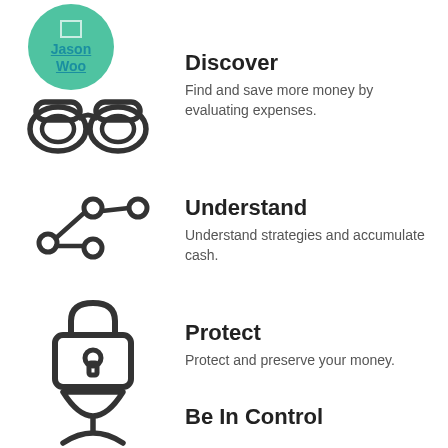[Figure (illustration): Teal/green circular avatar with name Jason Woo and a binoculars icon below, representing the Discover section]
Discover
Find and save more money by evaluating expenses.
[Figure (illustration): Network/graph nodes icon representing the Understand section]
Understand
Understand strategies and accumulate cash.
[Figure (illustration): Padlock icon representing the Protect section]
Protect
Protect and preserve your money.
[Figure (illustration): Hourglass/bowtie shape icon representing the Be In Control section]
Be In Control